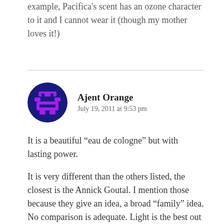example, Pacifica's scent has an ozone character to it and I cannot wear it (though my mother loves it!)
Ajent Orange
July 19, 2011 at 9:53 pm
It is a beautiful “eau de cologne” but with lasting power.
It is very different than the others listed, the closest is the Annick Goutal. I mention those because they give an idea, a broad “family” idea. No comparison is adequate. Light is the best out of any of those.